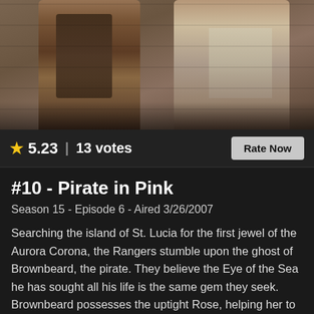[Figure (photo): Two actors in pirate/adventure costumes standing outdoors near stone wall background]
★ 5.23 | 13 votes
Rate Now
#10 - Pirate in Pink
Season 15 - Episode 6 - Aired 3/26/2007
Searching the island of St. Lucia for the first jewel of the Aurora Corona, the Rangers stumble upon the ghost of Brownbeard, the pirate. They believe the Eye of the Sea he has sought all his life is the same gem they seek. Brownbeard possesses the uptight Rose, helping her to loosen up and have fun as Rosie The Bold. Can the team find the jewel before Miratrix and her cannon monster do?